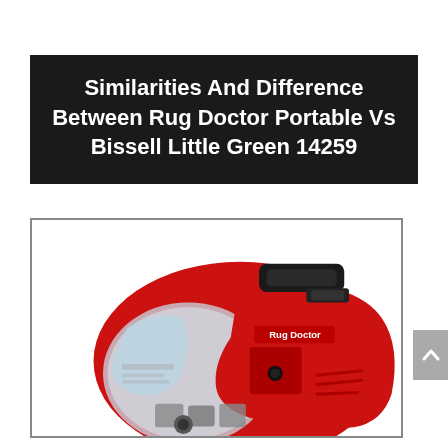Similarities And Difference Between Rug Doctor Portable Vs Bissell Little Green 14259
[Figure (photo): Photo of a red portable carpet cleaner (Rug Doctor portable spot cleaner) with a clear water tank, black handle on top, and cleaning attachments visible at the front, shown against a white background inside a bordered frame.]